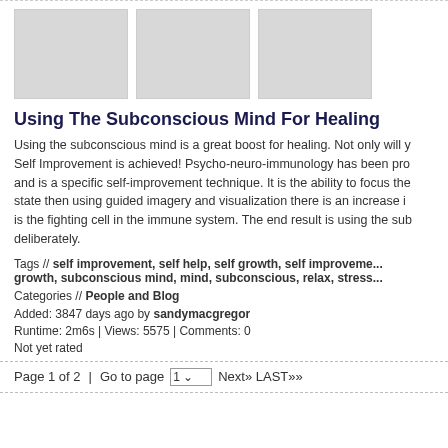[Figure (photo): Three gray placeholder thumbnail images in a row]
Using The Subconscious Mind For Healing
Using the subconscious mind is a great boost for healing. Not only will y... Self Improvement is achieved! Psycho-neuro-immunology has been pro... and is a specific self-improvement technique. It is the ability to focus the... state then using guided imagery and visualization there is an increase i... is the fighting cell in the immune system. The end result is using the sub... deliberately.
Tags // self improvement, self help, self growth, self improveme... growth, subconscious mind, mind, subconscious, relax, stress...
Categories // People and Blog
Added: 3847 days ago by sandymacgregor
Runtime: 2m6s | Views: 5575 | Comments: 0
Not yet rated
Page 1 of 2  |  Go to page  1  Next» LAST»»
About Us  |  Help  |  Advertise on ClipMoon  |  Terms of Use  |  P...  Copyright © 2007-2022 ClipMoon